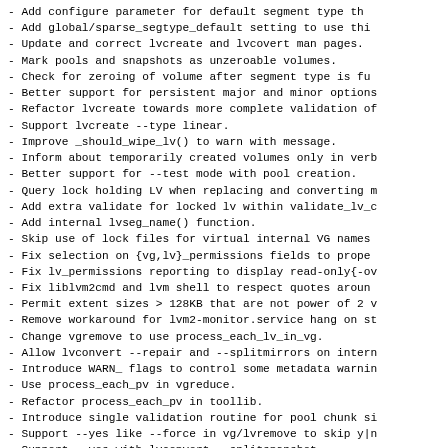- Add configure parameter for default segment type th...
- Add global/sparse_segtype_default setting to use thi...
- Update and correct lvcreate and lvcovert man pages.
- Mark pools and snapshots as unzeroable volumes.
- Check for zeroing of volume after segment type is fu...
- Better support for persistent major and minor options...
- Refactor lvcreate towards more complete validation o...
- Support lvcreate --type linear.
- Improve _should_wipe_lv() to warn with message.
- Inform about temporarily created volumes only in verb...
- Better support for --test mode with pool creation.
- Query lock holding LV when replacing and converting m...
- Add extra validate for locked lv within validate_lv_c...
- Add internal lvseg_name() function.
- Skip use of lock files for virtual internal VG names...
- Fix selection on {vg,lv}_permissions fields to prope...
- Fix lv_permissions reporting to display read-only{-ov...
- Fix liblvm2cmd and lvm shell to respect quotes aroun...
- Permit extent sizes > 128KB that are not power of 2 v...
- Remove workaround for lvm2-monitor.service hang on st...
- Change vgremove to use process_each_lv_in_vg.
- Allow lvconvert --repair and --splitmirrors on intern...
- Introduce WARN_ flags to control some metadata warnin...
- Use process_each_pv in vgreduce.
- Refactor process_each_pv in toollib.
- Introduce single validation routine for pool chunk si...
- Support --yes like --force in vg/lvremove to skip y|n...
- Support --yes with lvconvert --splitsnapshot.
- Fix detection of unsupported thin external lvconversi...
- Fix detection of unsupported cache and thin pool lvco...
- Fix detection of unsupported lvconversion of cache...